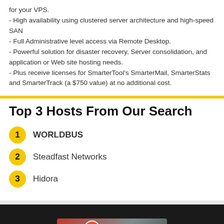for your VPS.
- High availability using clustered server architecture and high-speed SAN
- Full Administrative level access via Remote Desktop.
- Powerful solution for disaster recovery, Server consolidation, and application or Web site hosting needs.
- Plus receive licenses for SmarterTool's SmarterMail, SmarterStats and SmarterTrack (a $750 value) at no additional cost.
Top 3 Hosts From Our Search
1 WORLDBUS
2 Steadfast Networks
3 Hidora
[Figure (logo): Dark footer banner with a red and grey diagonal design containing a circular logo and brand name text]